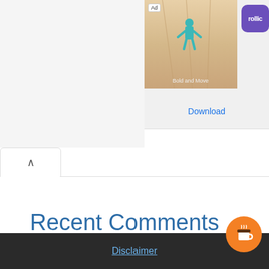[Figure (screenshot): Ad banner showing a mobile game with a character on a bowling lane, Rollic app icon, and Download button]
[Figure (other): Collapse/chevron up button (^) on left side]
Recent Comments
No comments to show.
Disclaimer
[Figure (illustration): Orange circular coffee cup icon button in bottom right corner]